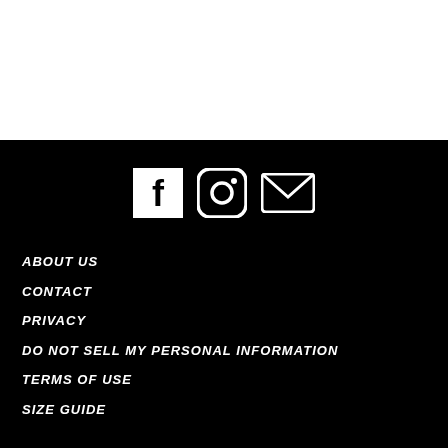[Figure (other): Social media icons: Facebook, Instagram, Email/envelope on black background]
ABOUT US
CONTACT
PRIVACY
DO NOT SELL MY PERSONAL INFORMATION
TERMS OF USE
SIZE GUIDE